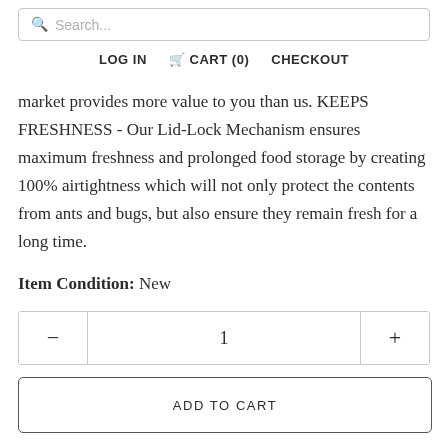Search... | LOG IN | CART (0) | CHECKOUT
market provides more value to you than us. KEEPS FRESHNESS - Our Lid-Lock Mechanism ensures maximum freshness and prolonged food storage by creating 100% airtightness which will not only protect the contents from ants and bugs, but also ensure they remain fresh for a long time.
Item Condition: New
| - | 1 | + |
| --- | --- | --- |
ADD TO CART